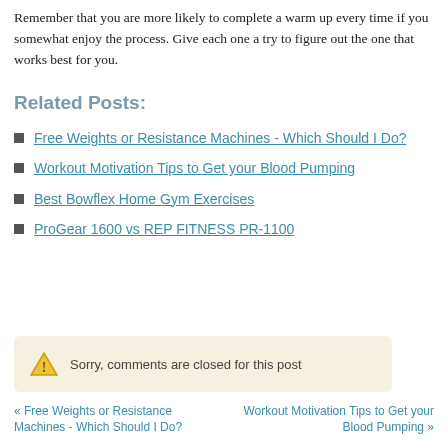Remember that you are more likely to complete a warm up every time if you somewhat enjoy the process. Give each one a try to figure out the one that works best for you.
Related Posts:
Free Weights or Resistance Machines - Which Should I Do?
Workout Motivation Tips to Get your Blood Pumping
Best Bowflex Home Gym Exercises
ProGear 1600 vs REP FITNESS PR-1100
Sorry, comments are closed for this post
« Free Weights or Resistance Machines - Which Should I Do?   Workout Motivation Tips to Get your Blood Pumping »